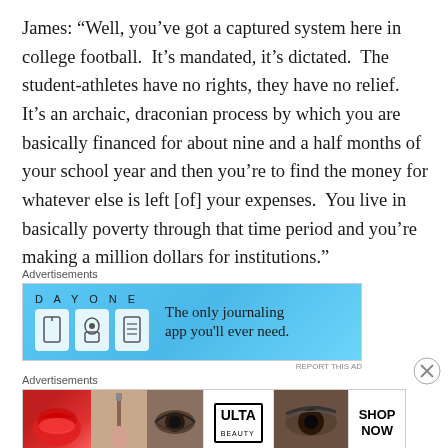James: “Well, you’ve got a captured system here in college football. It’s mandated, it’s dictated. The student-athletes have no rights, they have no relief. It’s an archaic, draconian process by which you are basically financed for about nine and a half months of your school year and then you’re to find the money for whatever else is left [of] your expenses. You live in basically poverty through that time period and you’re making a million dollars for institutions.”
[Figure (infographic): DAY ONE journaling app advertisement with blue background, app icons, and text: The only journaling app you’ll ever need.]
[Figure (infographic): ULTA beauty advertisement showing makeup imagery with SHOP NOW call to action.]